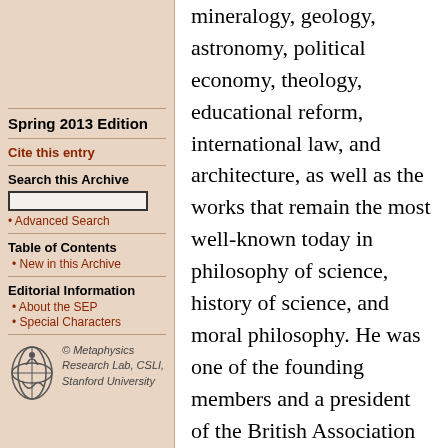Spring 2013 Edition
Cite this entry
Search this Archive
• Advanced Search
Table of Contents
• New in this Archive
Editorial Information
• About the SEP
• Special Characters
© Metaphysics Research Lab, CSLI, Stanford University
mineralogy, geology, astronomy, political economy, theology, educational reform, international law, and architecture, as well as the works that remain the most well-known today in philosophy of science, history of science, and moral philosophy. He was one of the founding members and a president of the British Association for the Advancement of Science, a fellow of the Royal Society, president of the Geological Society, and longtime Master of Trinity College, Cambridge. In his own time his influence was acknowledged by the major scientists of the day, such as